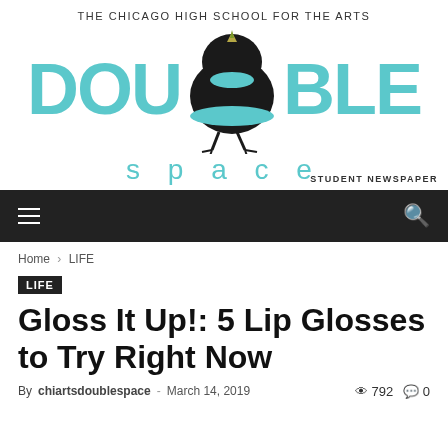THE CHICAGO HIGH SCHOOL FOR THE ARTS
[Figure (logo): Double Space student newspaper logo with teal DOUBLE text flanking a black bird illustration, 'space' text below in teal]
STUDENT NEWSPAPER
Home › LIFE
LIFE
Gloss It Up!: 5 Lip Glosses to Try Right Now
By chiartsdoublespace - March 14, 2019  792  0